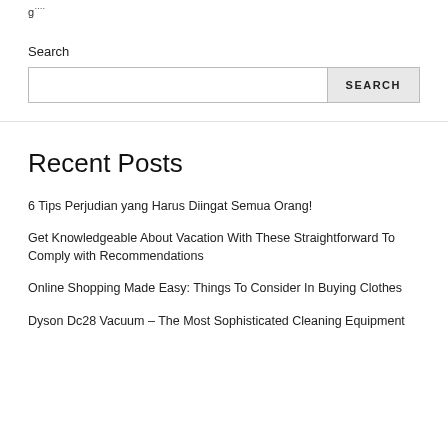g….
Search
Recent Posts
6 Tips Perjudian yang Harus Diingat Semua Orang!
Get Knowledgeable About Vacation With These Straightforward To Comply with Recommendations
Online Shopping Made Easy: Things To Consider In Buying Clothes
Dyson Dc28 Vacuum – The Most Sophisticated Cleaning Equipment